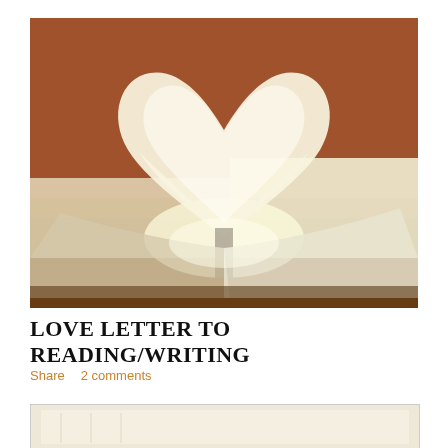[Figure (photo): A book open with pages folded into a heart shape, warm brown background, close-up photography]
LOVE LETTER TO READING/WRITING
Share   2 comments
[Figure (photo): Partial view of another book-related image at the bottom of the page, cropped]